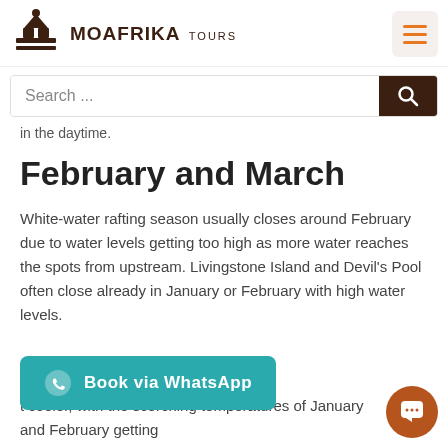MOAFRIKA TOURS
in the daytime.
February and March
White-water rafting season usually closes around February due to water levels getting too high as more water reaches the spots from upstream. Livingstone Island and Devil's Pool often close already in January or February with high water levels.
t cooler, with the scorching temperatures of January and February getting